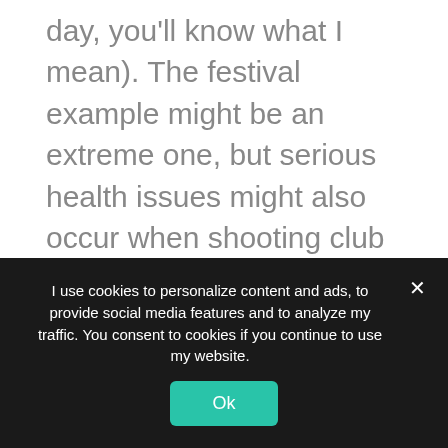day, you'll know what I mean). The festival example might be an extreme one, but serious health issues might also occur when shooting club gigs on a regular basis.
The following camera strap review is by no means meant to be a complete overview of the hundreds of camera straps that are on the market. I have tried my best to give you an overview of the most commonly used camera straps concert photographers use in
I use cookies to personalize content and ads, to provide social media features and to analyze my traffic. You consent to cookies if you continue to use my website.